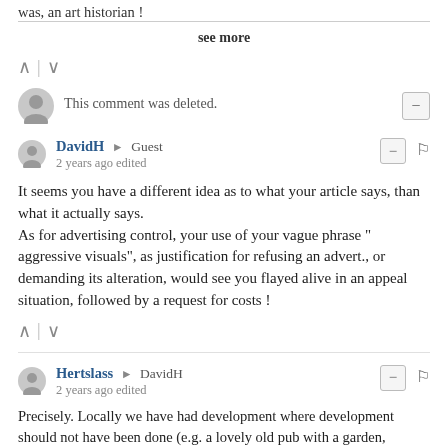was, an art historian !
see more
This comment was deleted.
DavidH → Guest
2 years ago edited
It seems you have a different idea as to what your article says, than what it actually says.
As for advertising control, your use of your vague phrase "aggressive visuals", as justification for refusing an advert., or demanding its alteration, would see you flayed alive in an appeal situation, followed by a request for costs !
Hertslass → DavidH
2 years ago edited
Precisely. Locally we have had development where development should not have been done (e.g. a lovely old pub with a garden, which...